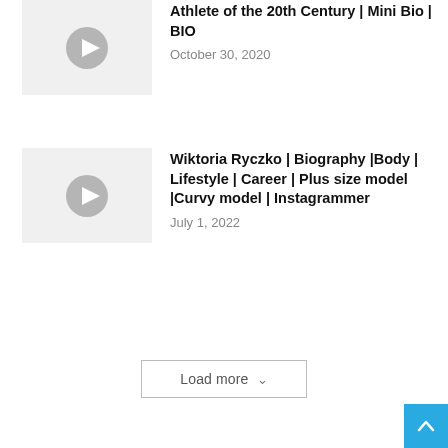[Figure (other): Video thumbnail with play button for Athlete of the 20th Century Mini Bio BIO]
Athlete of the 20th Century | Mini Bio | BIO
October 30, 2020
[Figure (other): Video thumbnail with play button for Wiktoria Ryczko biography video]
Wiktoria Ryczko | Biography |Body | Lifestyle | Career | Plus size model |Curvy model | Instagrammer
July 1, 2022
Load more